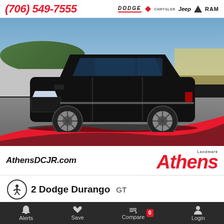(706) 549-7555  DODGE  Chrysler  Jeep  RAM
[Figure (photo): Black Dodge Durango GT SUV photographed from front-right angle in a dealership lot with metal building and trees in background]
AthensDCJR.com
Landmark Athens
2 Dodge Durango GT
k: N89004
Landmark Price:  $44,645
Alerts  Save  Compare 0  Login